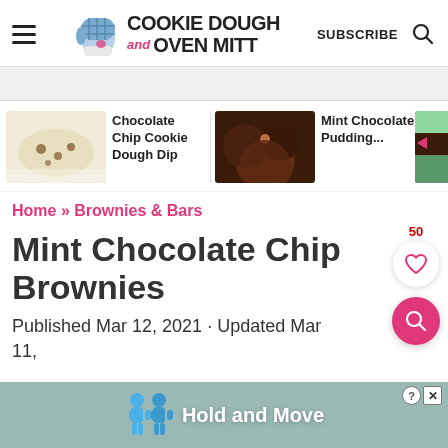Cookie Dough and Oven Mitt — SUBSCRIBE
[Figure (illustration): Three related recipe cards: Chocolate Chip Cookie Dough Dip, Mint Chocolate Pudding..., and a third partially visible recipe with thumbnail images]
Home » Brownies & Bars
Mint Chocolate Chip Brownies
Published Mar 12, 2021 · Updated Mar 11,
[Figure (screenshot): Advertisement overlay at bottom showing Hold and Move with cartoon figures and close buttons]